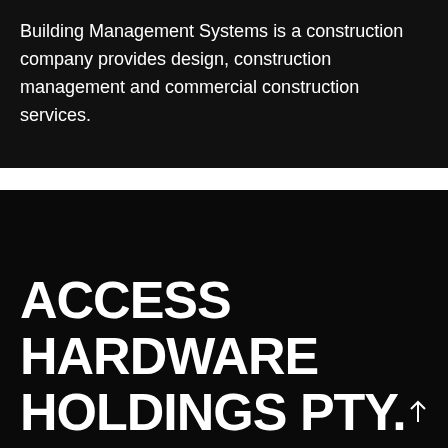Building Management Systems is a construction company provides design, construction management and commercial construction services.
ACCESS HARDWARE HOLDINGS PTY.